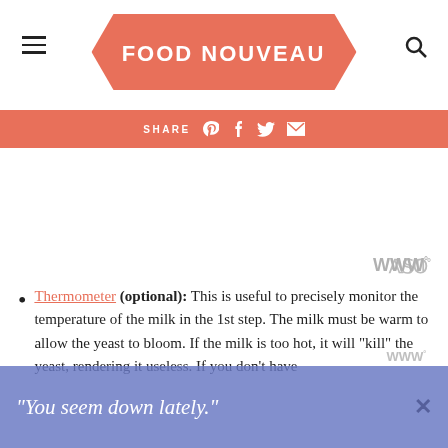FOOD NOUVEAU
SHARE
Thermometer (optional): This is useful to precisely monitor the temperature of the milk in the 1st step. The milk must be warm to allow the yeast to bloom. If the milk is too hot, it will "kill" the yeast, rendering it useless. If you don't have
"You seem down lately."